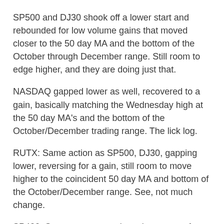SP500 and DJ30 shook off a lower start and rebounded for low volume gains that moved closer to the 50 day MA and the bottom of the October through December range. Still room to edge higher, and they are doing just that.
NASDAQ gapped lower as well, recovered to a gain, basically matching the Wednesday high at the 50 day MA's and the bottom of the October/December trading range. The lick log.
RUTX: Same action as SP500, DJ30, gapping lower, reversing for a gain, still room to move higher to the coincident 50 day MA and bottom of the October/December range. See, not much change.
SP400: Same story, reversing a lower open for a gain, this one the best of the rest outside SOX. At the bottom of the prior trading range, bumping into the 50 day EMA.
SOX: The one index that managed to break on through to the other side -- of the 50 day MA that is. SOX moved